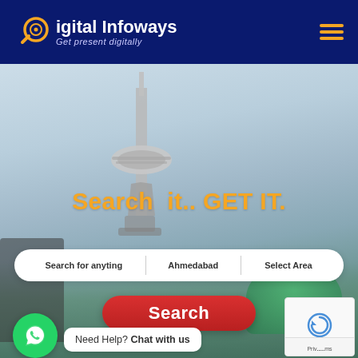Digital Infoways — Get present digitally
[Figure (screenshot): Hero banner with blurred city background featuring a tower/minaret. Large orange text reads 'Search it.. GET IT.' A white pill-shaped search bar contains 'Search for anyting', 'Ahmedabad', 'Select Area'. A red rounded Search button is below. WhatsApp chat widget in bottom-left corner with 'Need Help? Chat with us'. reCAPTCHA badge in bottom-right.]